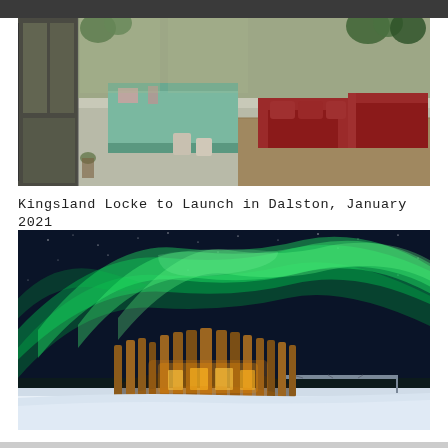[Figure (photo): Interior of a modern hotel or co-working lobby space with large glass windows, lush green plants, a mint/sage green reception desk, and deep red/burgundy modular sofas on a light wood floor. Industrial-style metal frame doors visible on the left.]
Kingsland Locke to Launch in Dalston, January 2021
[Figure (photo): Dramatic night photograph of the northern lights (aurora borealis) in vivid green sweeping across a dark blue starry sky, above a distinctive circular wooden structure (Arctic Bath hotel or similar Scandinavian landmark) illuminated from within, with a snow-covered landscape and a bridge visible in the background.]